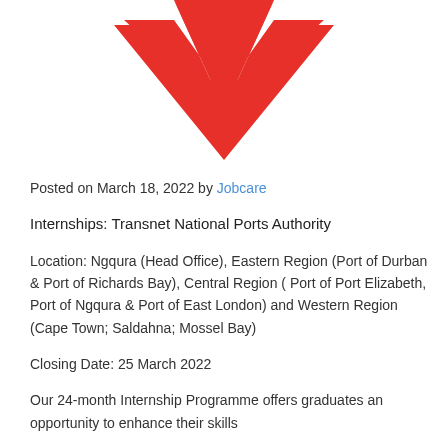[Figure (logo): Red downward-pointing chevron/check mark logo (Transnet logo partial view)]
Posted on March 18, 2022 by Jobcare
Internships: Transnet National Ports Authority
Location: Ngqura (Head Office), Eastern Region (Port of Durban & Port of Richards Bay), Central Region ( Port of Port Elizabeth, Port of Ngqura & Port of East London) and Western Region (Cape Town; Saldahna; Mossel Bay)
Closing Date: 25 March 2022
Our 24-month Internship Programme offers graduates an opportunity to enhance their skills